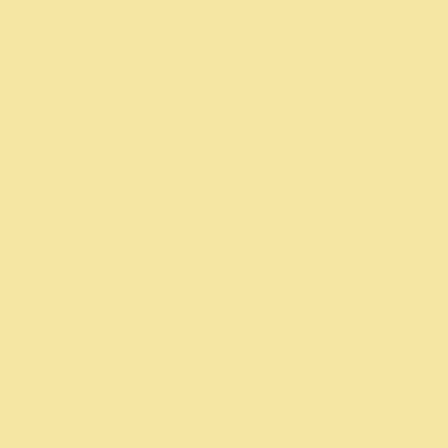you can integrate time and conside
Sincerely,
Kristen Hayman
Thanks For Shar
[Figure (photo): Portrait photo of a man in a suit with a yellow tie, framed with a gold/yellow border]